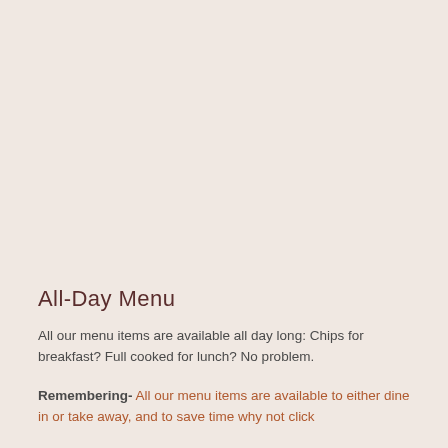All-Day Menu
All our menu items are available all day long: Chips for breakfast? Full cooked for lunch? No problem.
Remembering- All our menu items are available to either dine in or take away, and to save time why not click